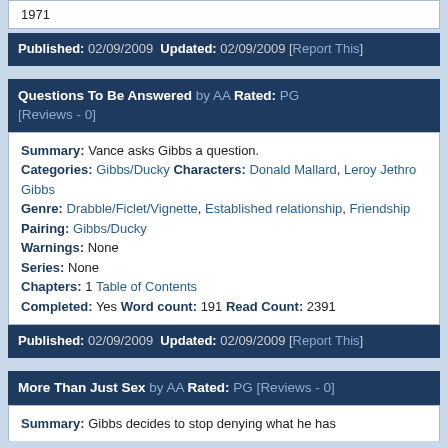1971
Published: 02/09/2009 Updated: 02/09/2009 [Report This]
Questions To Be Answered by AA Rated: PG [Reviews - 0]
Summary: Vance asks Gibbs a question. Categories: Gibbs/Ducky Characters: Donald Mallard, Leroy Jethro Gibbs Genre: Drabble/Ficlet/Vignette, Established relationship, Friendship Pairing: Gibbs/Ducky Warnings: None Series: None Chapters: 1 Table of Contents Completed: Yes Word count: 191 Read Count: 2391
Published: 02/09/2009 Updated: 02/09/2009 [Report This]
More Than Just Sex by AA Rated: PG [Reviews - 0]
Summary: Gibbs decides to stop denying what he has